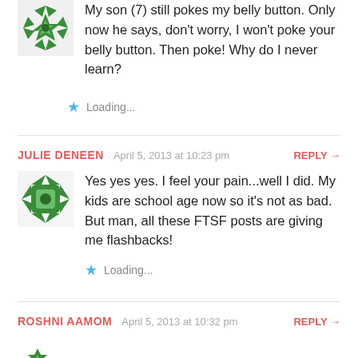My son (7) still pokes my belly button. Only now he says, don't worry, I won't poke your belly button. Then poke! Why do I never learn?
Loading...
JULIE DENEEN  April 5, 2013 at 10:23 pm  REPLY →
Yes yes yes. I feel your pain...well I did. My kids are school age now so it's not as bad. But man, all these FTSF posts are giving me flashbacks!
Loading...
ROSHNI AAMOM  April 5, 2013 at 10:32 pm  REPLY →